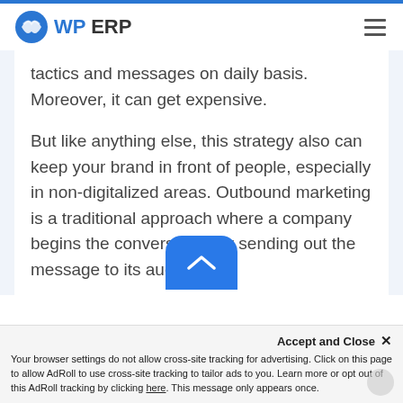WP ERP
tactics and messages on daily basis. Moreover, it can get expensive.

But like anything else, this strategy also can keep your brand in front of people, especially in non-digitalized areas. Outbound marketing is a traditional approach where a company begins the conversation by sending out the message to its audience.
Accept and Close ✕
Your browser settings do not allow cross-site tracking for advertising. Click on this page to allow AdRoll to use cross-site tracking to tailor ads to you. Learn more or opt out of this AdRoll tracking by clicking here. This message only appears once.